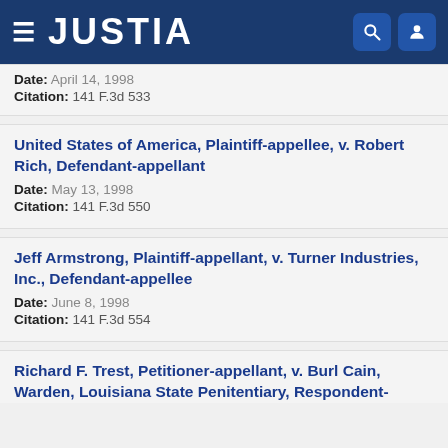JUSTIA
Date: April 14, 1998
Citation: 141 F.3d 533
United States of America, Plaintiff-appellee, v. Robert Rich, Defendant-appellant
Date: May 13, 1998
Citation: 141 F.3d 550
Jeff Armstrong, Plaintiff-appellant, v. Turner Industries, Inc., Defendant-appellee
Date: June 8, 1998
Citation: 141 F.3d 554
Richard F. Trest, Petitioner-appellant, v. Burl Cain, Warden, Louisiana State Penitentiary, Respondent-